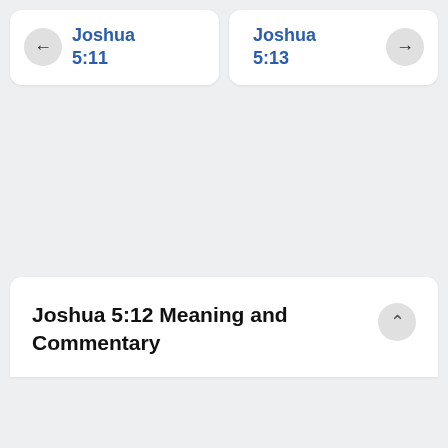← Joshua 5:11
Joshua 5:13 →
Joshua 5:12 Meaning and Commentary